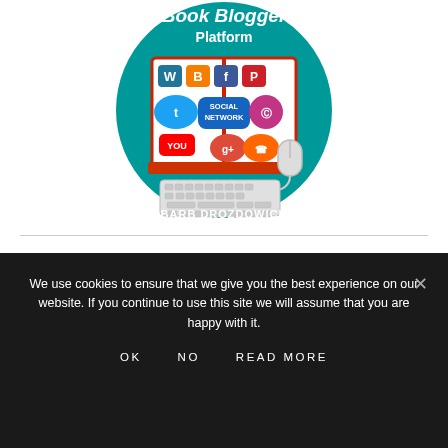[Figure (illustration): Book cover for 'Book Blogger Platform' by Barb Drozdowich. Teal circular background with an open book displaying social media icons (WordPress, Blogger, Facebook, Pinterest, Twitter, Social Network, Instagram, YouTube, Google+, RSS). A computer mouse and keyboard are shown below the book. Author name 'BARB DROZDOWICH' at bottom.]
We use cookies to ensure that we give you the best experience on our website. If you continue to use this site we will assume that you are happy with it.
OK   NO   READ MORE